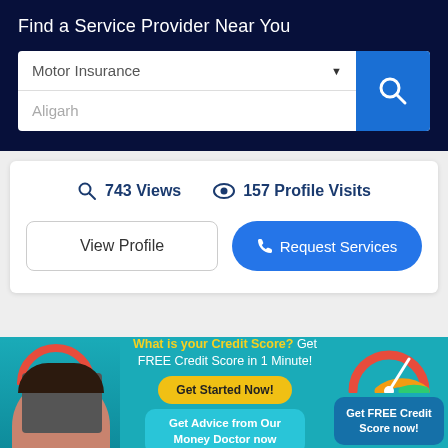Find a Service Provider Near You
Motor Insurance
Aligarh
743 Views
157 Profile Visits
View Profile
Request Services
What is your Credit Score? Get FREE Credit Score in 1 Minute!
Get Advice from Our Money Doctor now
Get FREE Credit Score now!